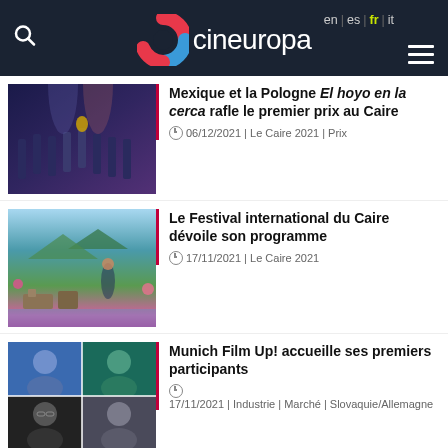cineuropa — en | es | fr | it
Mexique et la Pologne El hoyo en la cerca rafle le premier prix au Caire
06/12/2021 | Le Caire 2021 | Prix
Le Festival international du Caire dévoile son programme
17/11/2021 | Le Caire 2021
Munich Film Up! accueille ses premiers participants
17/11/2021 | Industrie | Marché | Slovaquie/Allemagne
[Figure (photo): Award ceremony photo with people on stage in dark blue/purple lighting]
[Figure (photo): Terrace scene with chairs and colorful background landscape]
[Figure (photo): Grid of four portrait photos of film participants]
[Figure (photo): Partially visible red-toned photo at bottom]